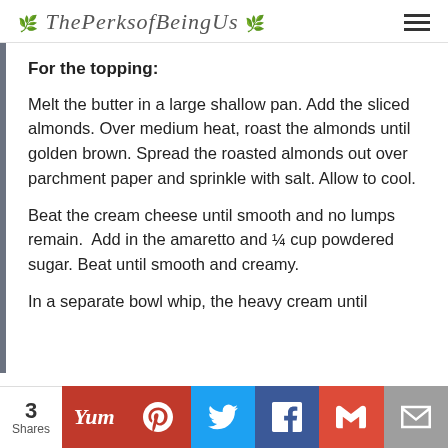ThePerksofBeingUs
For the topping:
Melt the butter in a large shallow pan. Add the sliced almonds. Over medium heat, roast the almonds until golden brown. Spread the roasted almonds out over parchment paper and sprinkle with salt. Allow to cool.
Beat the cream cheese until smooth and no lumps remain.  Add in the amaretto and ¼ cup powdered sugar. Beat until smooth and creamy.
In a separate bowl whip, the heavy cream until
3 Shares | Yum | Pinterest | Twitter | Facebook | Gmail | Email